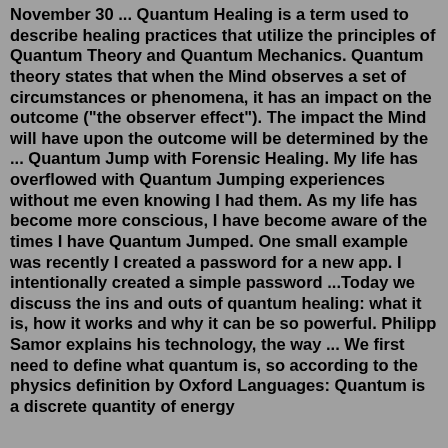November 30 ... Quantum Healing is a term used to describe healing practices that utilize the principles of Quantum Theory and Quantum Mechanics. Quantum theory states that when the Mind observes a set of circumstances or phenomena, it has an impact on the outcome ("the observer effect"). The impact the Mind will have upon the outcome will be determined by the ... Quantum Jump with Forensic Healing. My life has overflowed with Quantum Jumping experiences without me even knowing I had them. As my life has become more conscious, I have become aware of the times I have Quantum Jumped. One small example was recently I created a password for a new app. I intentionally created a simple password ...Today we discuss the ins and outs of quantum healing: what it is, how it works and why it can be so powerful. Philipp Samor explains his technology, the way ... We first need to define what quantum is, so according to the physics definition by Oxford Languages: Quantum is a discrete quantity of energy